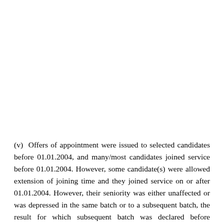(v)  Offers of appointment were issued to selected candidates before 01.01.2004, and many/most candidates joined service before 01.01.2004. However, some candidate(s) were allowed extension of joining time and they joined service on or after 01.01.2004. However, their seniority was either unaffected or was depressed in the same batch or to a subsequent batch, the result for which subsequent batch was declared before 01.01.2004.